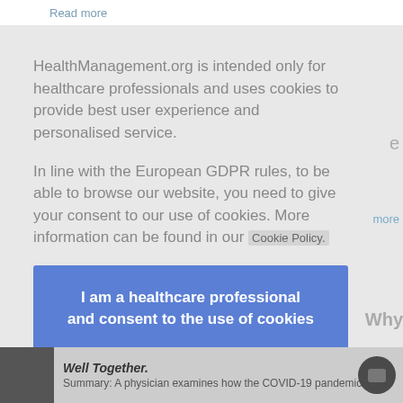Read more
HealthManagement.org is intended only for healthcare professionals and uses cookies to provide best user experience and personalised service.
In line with the European GDPR rules, to be able to browse our website, you need to give your consent to our use of cookies. More information can be found in our Cookie Policy.
I am a healthcare professional and consent to the use of cookies
Summary: A physician examines how the COVID-19 pandemic is